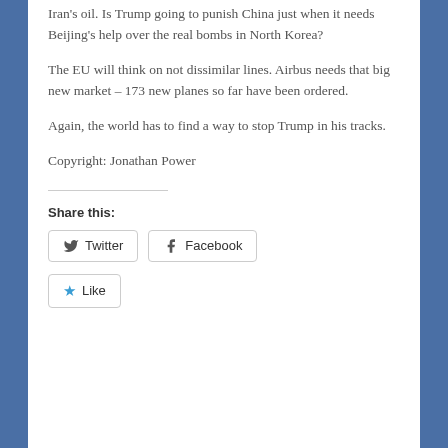Iran's oil. Is Trump going to punish China just when it needs Beijing's help over the real bombs in North Korea?
The EU will think on not dissimilar lines. Airbus needs that big new market – 173 new planes so far have been ordered.
Again, the world has to find a way to stop Trump in his tracks.
Copyright: Jonathan Power
Share this:
Twitter
Facebook
Like